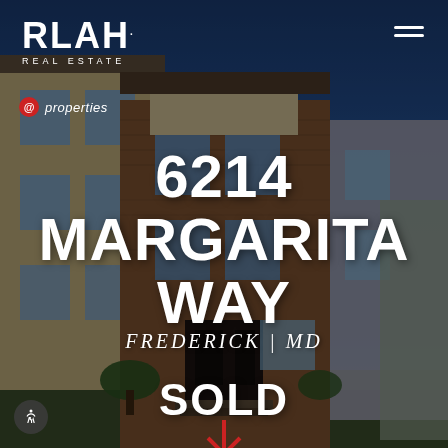[Figure (photo): Exterior photo of a multi-story brick townhouse with blue sky background, used as full-page background with dark overlay]
RLAH. REAL ESTATE
[Figure (logo): @properties logo in red and white, italic text]
6214 MARGARITA WAY
FREDERICK | MD
SOLD